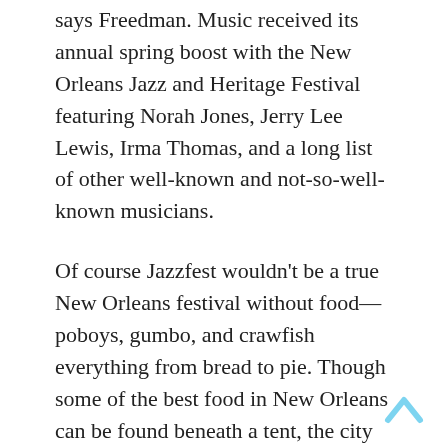says Freedman. Music received its annual spring boost with the New Orleans Jazz and Heritage Festival featuring Norah Jones, Jerry Lee Lewis, Irma Thomas, and a long list of other well-known and not-so-well-known musicians.
Of course Jazzfest wouldn't be a true New Orleans festival without food—poboys, gumbo, and crawfish everything from bread to pie. Though some of the best food in New Orleans can be found beneath a tent, the city boasts some of the world's top chefs, including Emeril Lagasse, Paul Prudhomme, and Susan Spicer, to name just a few.
There are plenty of fun things to do in New Orleans besides eat and party. Families enjoy a world-class